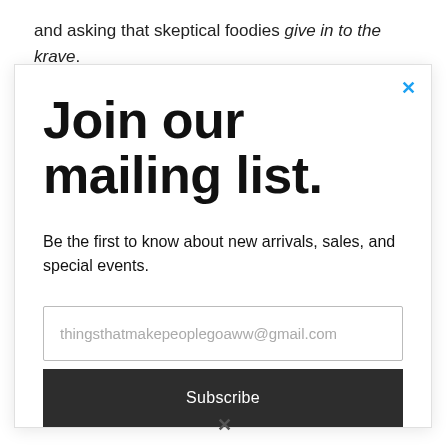and asking that skeptical foodies give in to the krave.
Join our mailing list.
Be the first to know about new arrivals, sales, and special events.
thingsthatmakepeoplegoaww@gmail.com
Subscribe